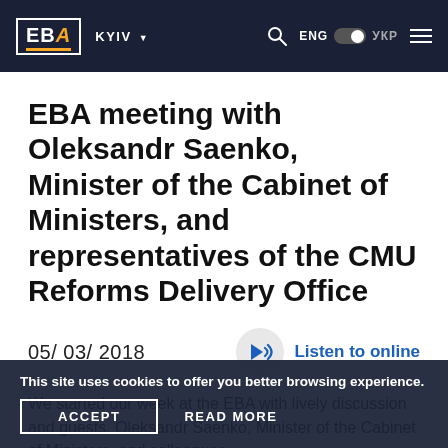EBA | KYIV | ENG | УКР
EBA meeting with Oleksandr Saenko, Minister of the Cabinet of Ministers, and representatives of the CMU Reforms Delivery Office
05/ 03/ 2018
Listen to online
We started our week at the EBA with lively discussion and guests. Oleksandr Saenko, Minister of the Cabinet of Ministers, and colleagues
This site uses cookies to offer you better browsing experience.